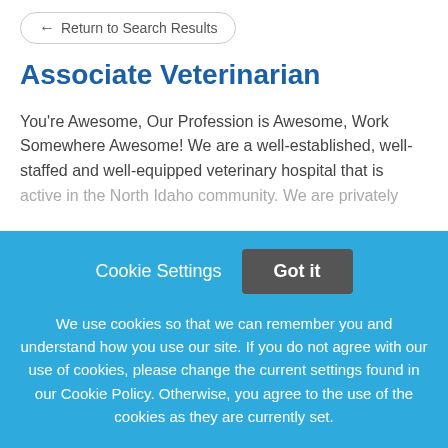← Return to Search Results
Associate Veterinarian
You're Awesome, Our Profession is Awesome, Work Somewhere Awesome! We are a well-established, well-staffed and well-equipped veterinary hospital that is active in the North Idaho community. We are privately
This job listing is no longer active.
Cookie Settings
Got it
We use cookies so that we can remember you and understand how you use our site. If you do not agree with our use of cookies, please change the current settings found in our Cookie Policy. Otherwise, you agree to the use of the cookies as they are currently set.